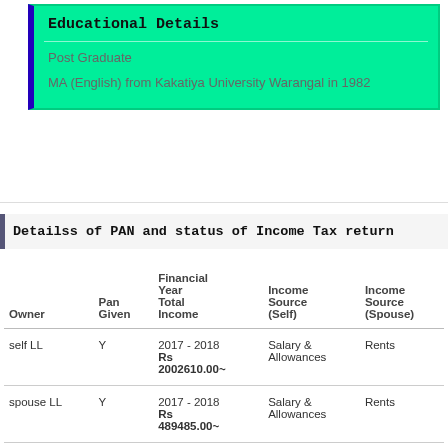Educational Details
Post Graduate
MA (English) from Kakatiya University Warangal in 1982
Detailss of PAN and status of Income Tax return
| Owner | Pan Given | Financial Year Total Income | Income Source (Self) | Income Source (Spouse) |
| --- | --- | --- | --- | --- |
| self LL | Y | 2017 - 2018
Rs 2002610.00~ | Salary & Allowances | Rents |
| spouse LL | Y | 2017 - 2018
Rs 489485.00~ | Salary & Allowances | Rents |